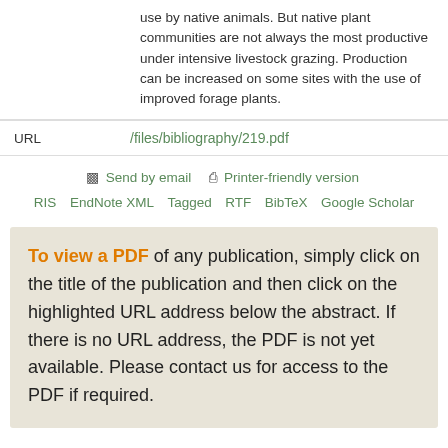use by native animals. But native plant communities are not always the most productive under intensive livestock grazing. Production can be increased on some sites with the use of improved forage plants.
| URL | /files/bibliography/219.pdf |
| --- | --- |
Send by email   Printer-friendly version
RIS  EndNote XML  Tagged  RTF  BibTeX  Google Scholar
To view a PDF of any publication, simply click on the title of the publication and then click on the highlighted URL address below the abstract. If there is no URL address, the PDF is not yet available. Please contact us for access to the PDF if required.